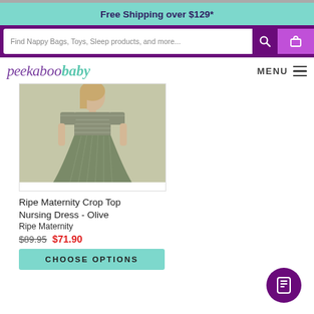Free Shipping over $129*
[Figure (screenshot): Search bar with placeholder text: Find Nappy Bags, Toys, Sleep products, and more...]
[Figure (logo): Peekaboo Baby logo in purple and teal italic text]
[Figure (photo): Ripe Maternity Crop Top Nursing Dress in Olive color worn by a model]
Ripe Maternity Crop Top Nursing Dress - Olive
Ripe Maternity
$89.95 $71.90
CHOOSE OPTIONS